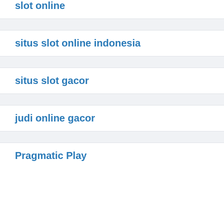slot online
situs slot online indonesia
situs slot gacor
judi online gacor
Pragmatic Play